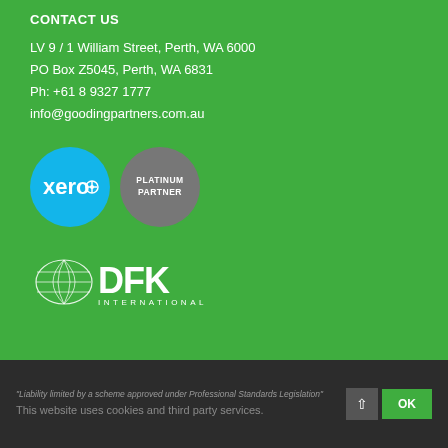CONTACT US
LV 9 / 1 William Street, Perth, WA 6000
PO Box Z5045, Perth, WA 6831
Ph: +61 8 9327 1777
info@goodingpartners.com.au
[Figure (logo): Xero Platinum Partner logo — a blue circle with 'xero' text and a grey circle with 'PLATINUM PARTNER' text]
[Figure (logo): DFK International logo in white on green background]
"Liability limited by a scheme approved under Professional Standards Legislation"
This website uses cookies and third party services.